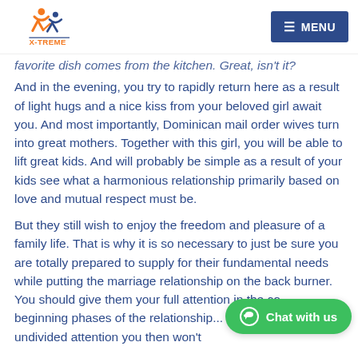X-TREME [logo] | MENU
favorite dish comes from the kitchen. Great, isn't it? And in the evening, you try to rapidly return here as a result of light hugs and a nice kiss from your beloved girl await you. And most importantly, Dominican mail order wives turn into great mothers. Together with this girl, you will be able to lift great kids. And will probably be simple as a result of your kids see what a harmonious relationship primarily based on love and mutual respect must be.
But they still wish to enjoy the freedom and pleasure of a family life. That is why it is so necessary to just be sure you are totally prepared to supply for their fundamental needs while putting the marriage relationship on the back burner. You should give them your full attention in the co... beginning phases of the relationship... give them your undivided attention you then won't